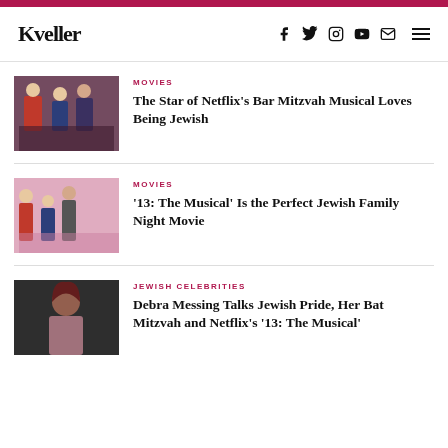Kveller
MOVIES — The Star of Netflix's Bar Mitzvah Musical Loves Being Jewish
MOVIES — '13: The Musical' Is the Perfect Jewish Family Night Movie
JEWISH CELEBRITIES — Debra Messing Talks Jewish Pride, Her Bat Mitzvah and Netflix's '13: The Musical'